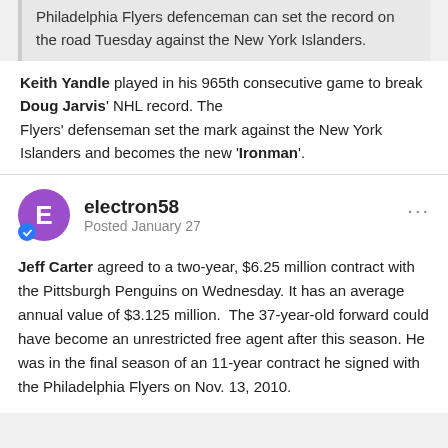Philadelphia Flyers defenceman can set the record on the road Tuesday against the New York Islanders.
Keith Yandle played in his 965th consecutive game to break Doug Jarvis' NHL record. The Flyers' defenseman set the mark against the New York Islanders and becomes the new 'Ironman'.
electron58
Posted January 27
Jeff Carter agreed to a two-year, $6.25 million contract with the Pittsburgh Penguins on Wednesday. It has an average annual value of $3.125 million. The 37-year-old forward could have become an unrestricted free agent after this season. He was in the final season of an 11-year contract he signed with the Philadelphia Flyers on Nov. 13, 2010.